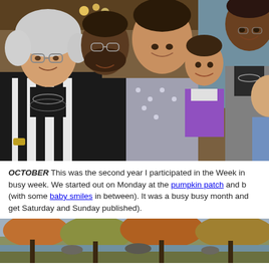[Figure (photo): Group photo of a family smiling together indoors. An older woman with curly white hair and glasses, a man with glasses, a woman in a polka dot top holding a young girl in purple, a tall man, and a baby on the right side.]
OCTOBER This was the second year I participated in the Week in... busy week. We started out on Monday at the pumpkin patch and b... (with some baby smiles in between). It was a busy busy month and get Saturday and Sunday published).
[Figure (photo): Outdoor autumn landscape photo showing trees with fall foliage near water.]